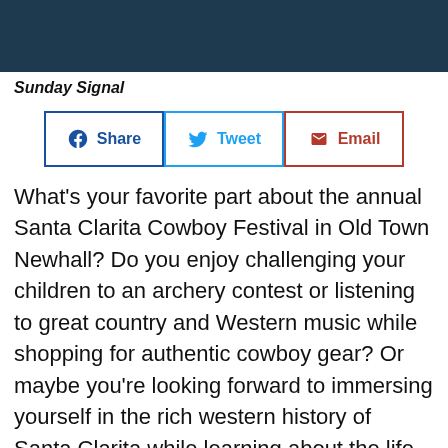[Figure (other): Dark teal/navy header banner image]
Sunday Signal
[Figure (infographic): Social share buttons: Share (Facebook), Tweet (Twitter), Email]
What's your favorite part about the annual Santa Clarita Cowboy Festival in Old Town Newhall? Do you enjoy challenging your children to an archery contest or listening to great country and Western music while shopping for authentic cowboy gear? Or maybe you're looking forward to immersing yourself in the rich western history of Santa Clarita while learning about the life of famed actor William S. Hart. No matter your pleasure, the Cowboy Festival